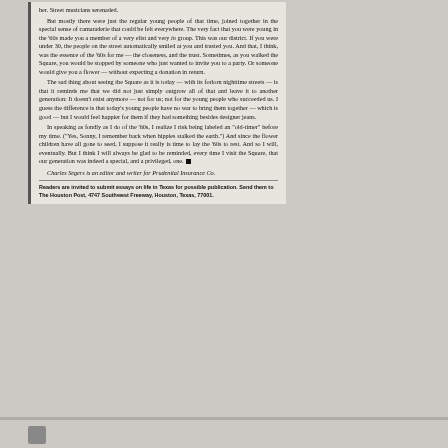her. Street musicians serenaded. But mostly there were just the regular young people of that time, joined together in the special sense of camaraderie that could be felt everywhere. The very fact that you were young in the '60s made you a member of a very elist and very in group. This was our district. If you were under 30, the people on the street automatically smiled at you and trusted you. And that, I think, was the essence of the '60s for me — the closeness, and the trust. Sometimes, as you walked the Square, you would be stopped by someone who just wanted to invite you to a party. Or someone would give you a flower — without expecting a donation in return. The sad thing about seeing the Square as it is today — with its forlorn nighttime streets — is that it reminds me that we did not just simply outgrow all of that and leave it to another generation: It doesn't exist anymore — not for us; not for the young people who succeeded us. I guess the difference is that today's young people have no war to bring them together — which is good — but I would feel happier for them if they had something besides designer jeans. In speaking as fondly as I do of the '60s, I realize I risk being labeled an "old-timer" before my time. ("Yes, Sonny, I remember back when hippies stalked the earth.") And since the flower children have all gone to seed, I suppose it really is time to lay the '60s to rest. And so I will, eventually. But I think I will always be glad to be reminded, every time I visit the Square, that our generation was indeed a special, and a privileged, one.
Charles Segers is an editor and writer for Prudential Insurance Co.
Readers are invited to submit essays on life in Texas for possible publication. Send them to The Houston Post, 4747 Southwest Freeway, Houston, Texas, 77001.